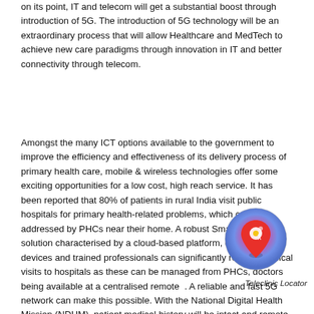on its point, IT and telecom will get a substantial boost through introduction of 5G. The introduction of 5G technology will be an extraordinary process that will allow Healthcare and MedTech to achieve new care paradigms through innovation in IT and better connectivity through telecom.
Amongst the many ICT options available to the government to improve the efficiency and effectiveness of its delivery process of primary health care, mobile & wireless technologies offer some exciting opportunities for a low cost, high reach service. It has been reported that 80% of patients in rural India visit public hospitals for primary health-related problems, which could be addressed by PHCs near their home. A robust Smart Health solution characterised by a cloud-based platform, connected devices and trained professionals can significantly reduce physical visits to hospitals as these can be managed from PHCs, doctors being available at a centralised remote. A reliable and fast 5G network can make this possible. With the National Digital Health Mission (NDHM), patient medical history will be intact and remote health services will be available and telehealing will be a boost 5G...
[Figure (illustration): A circular icon showing a map marker/pin on a colorful (pink/purple/blue gradient) background with a label 'Teleclinic Locator' below it.]